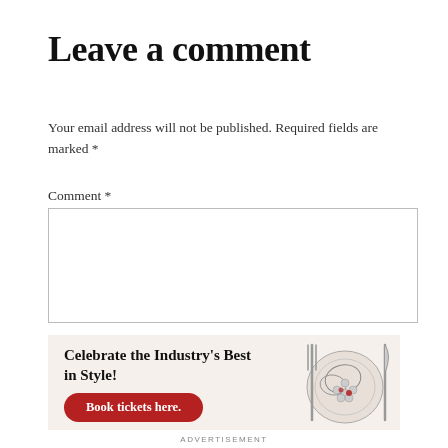Leave a comment
Your email address will not be published. Required fields are marked *
Comment *
[Figure (other): Empty comment text area input box with thin border]
[Figure (infographic): Advertisement banner with text 'Celebrate the Industry's Best in Style!' and a red 'Book tickets here.' button, with an illustration of a plate with grapes and cutlery on a beige background]
ADVERTISEMENT